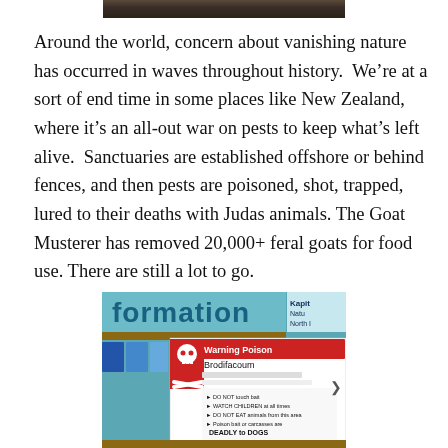[Figure (photo): Partial photo at top of page, showing a dark natural scene, cropped at the top edge.]
Around the world, concern about vanishing nature has occurred in waves throughout history.  We’re at a sort of end time in some places like New Zealand, where it’s an all-out war on pests to keep what’s left alive.  Sanctuaries are established offshore or behind fences, and then pests are poisoned, shot, trapped, lured to their deaths with Judas animals. The Goat Musterer has removed 20,000+ feral goats for food use. There are still a lot to go.
[Figure (photo): Photo of an information board with a Warning Poison sign for Brodifacoum, showing a skull and crossbones and bullet points including DEADLY to DOGS warning.]